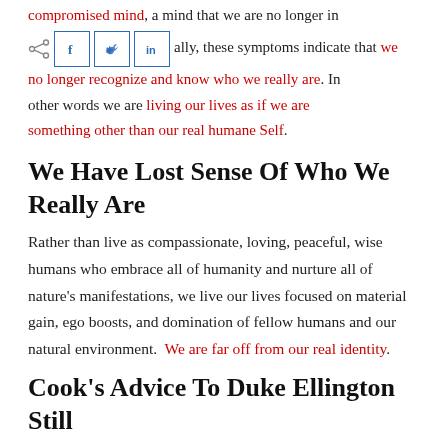compromised mind, a mind that we are no longer in control of. Basically, these symptoms indicate that we no longer recognize and know who we really are. In other words we are living our lives as if we are something other than our real humane Self.
We Have Lost Sense Of Who We Really Are
Rather than live as compassionate, loving, peaceful, wise humans who embrace all of humanity and nurture all of nature's manifestations, we live our lives focused on material gain, ego boosts, and domination of fellow humans and our natural environment. We are far off from our real identity.
Cook's Advice To Duke Ellington Still